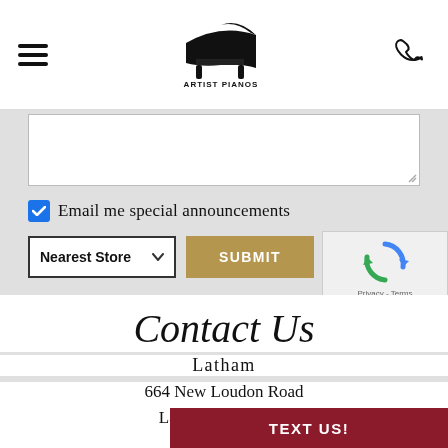Artist Pianos
[Figure (screenshot): Textarea input box, partially visible at top of gray form section]
Email me special announcements
Nearest Store  SUBMIT
[Figure (screenshot): reCAPTCHA widget with recycling arrows logo, Privacy - Terms text]
Contact Us
Latham
664 New Loudon Road
Latham, NY 12110
TEXT US!